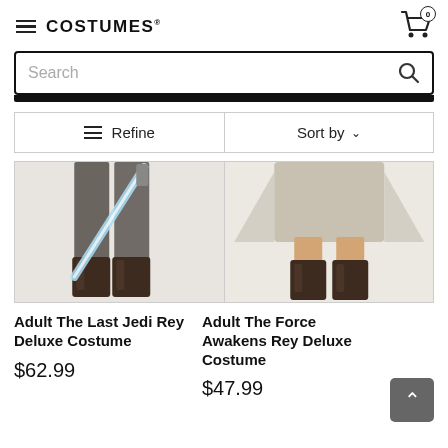COSTUMES (logo) — Cart: 0
Search
≡ Refine   Sort by ∨
[Figure (photo): Lower body of a person in a Jedi costume with brown boots and a blue lightsaber]
[Figure (photo): Lower body of a person in a Rey costume with brown boots and beige flowing outfit]
Adult The Last Jedi Rey Deluxe Costume
$62.99
Adult The Force Awakens Rey Deluxe Costume
$47.99